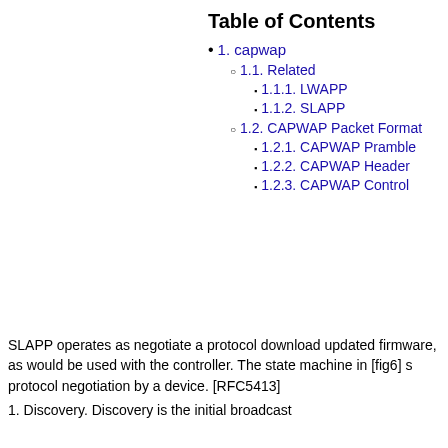Table of Contents
1. capwap
1.1. Related
1.1.1. LWAPP
1.1.2. SLAPP
1.2. CAPWAP Packet Format
1.2.1. CAPWAP Pramble
1.2.2. CAPWAP Header
1.2.3. CAPWAP Control
SLAPP operates as negotiate a protocol download updated firmware, as would be used with the controller. The state machine in [fig6] s protocol negotiation by a device. [RFC5413]
1. Discovery. Discovery is the initial broadcast